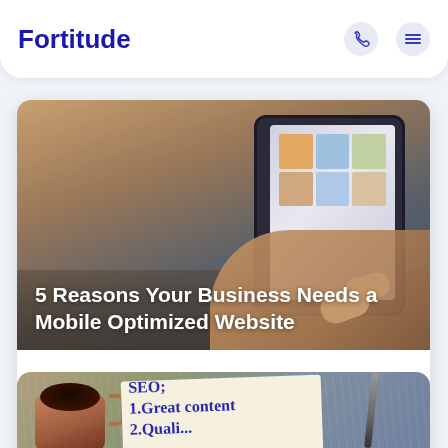Fortitude
[Figure (photo): Person using a tablet device, showing a mobile website]
5 Reasons Your Business Needs a Mobile Optimized Website
If you want to grow your presence online, one option is to use mobile marketing. Here reasons your business needs a mobile optimized website.
[Figure (photo): Coffee cup and napkin with SEO text: SEO: 1.Great content 2.Quali...]